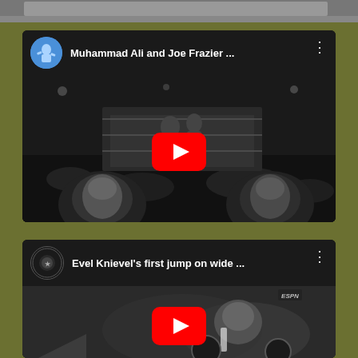[Figure (screenshot): Top sliver of a partially visible image at the top of the screen]
[Figure (screenshot): YouTube video thumbnail card for 'Muhammad Ali and Joe Frazier ...' showing a boxing match in black and white with two face insets at the bottom, YouTube play button overlay]
[Figure (screenshot): YouTube video thumbnail card for 'Evel Knievel's first jump on wide ...' showing a blurry motorcycle jump scene with ESPN logo, YouTube play button overlay]